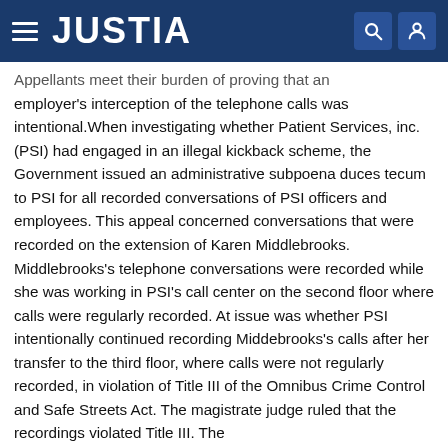JUSTIA
Appellants meet their burden of proving that an employer's interception of the telephone calls was intentional.When investigating whether Patient Services, inc. (PSI) had engaged in an illegal kickback scheme, the Government issued an administrative subpoena duces tecum to PSI for all recorded conversations of PSI officers and employees. This appeal concerned conversations that were recorded on the extension of Karen Middlebrooks. Middlebrooks's telephone conversations were recorded while she was working in PSI's call center on the second floor where calls were regularly recorded. At issue was whether PSI intentionally continued recording Middebrooks's calls after her transfer to the third floor, where calls were not regularly recorded, in violation of Title III of the Omnibus Crime Control and Safe Streets Act. The magistrate judge ruled that the recordings violated Title III. The